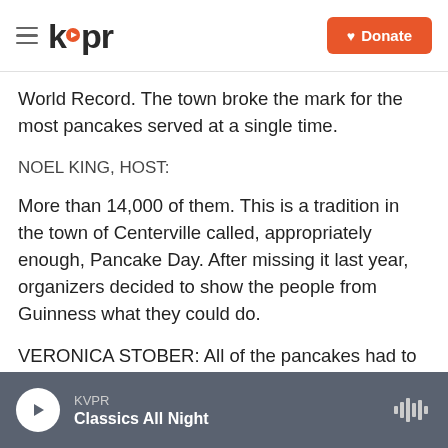kvpr | Donate
World Record. The town broke the mark for the most pancakes served at a single time.
NOEL KING, HOST:
More than 14,000 of them. This is a tradition in the town of Centerville called, appropriately enough, Pancake Day. After missing it last year, organizers decided to show the people from Guinness what they could do.
VERONICA STOBER: All of the pancakes had to be at least five inches in diameter. And actually, the person from Guinness would come around and
KVPR — Classics All Night